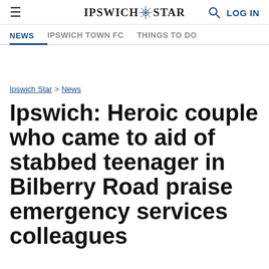IPSWICH STAR | NEWS | IPSWICH TOWN FC | THINGS TO DO | LOG IN
Ipswich Star > News
Ipswich: Heroic couple who came to aid of stabbed teenager in Bilberry Road praise emergency services colleagues